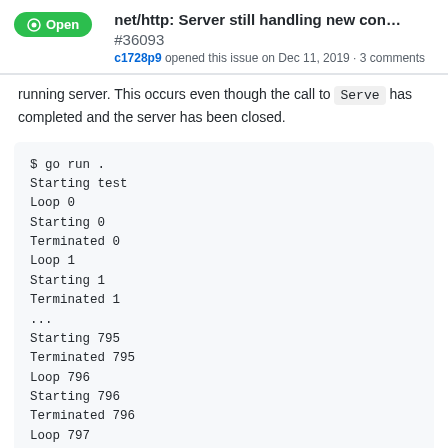net/http: Server still handling new con... #36093
c1728p9 opened this issue on Dec 11, 2019 · 3 comments
running server. This occurs even though the call to Serve has completed and the server has been closed.
$ go run .
Starting test
Loop 0
Starting 0
Terminated 0
Loop 1
Starting 1
Terminated 1
...
Starting 795
Terminated 795
Loop 796
Starting 796
Terminated 796
Loop 797
Starting 797
Mismatch! expected 797 got 796
exit status 255